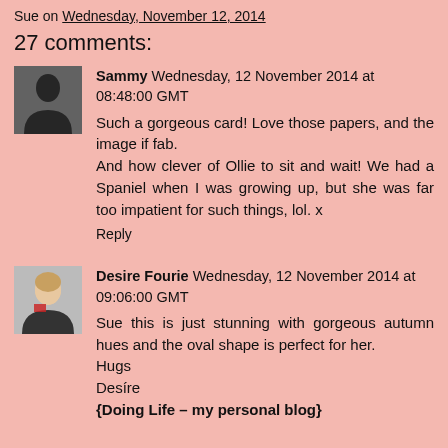Sue on Wednesday, November 12, 2014
27 comments:
Sammy Wednesday, 12 November 2014 at 08:48:00 GMT
Such a gorgeous card! Love those papers, and the image if fab.
And how clever of Ollie to sit and wait! We had a Spaniel when I was growing up, but she was far too impatient for such things, lol. x
Reply
Desire Fourie Wednesday, 12 November 2014 at 09:06:00 GMT
Sue this is just stunning with gorgeous autumn hues and the oval shape is perfect for her.
Hugs
Desire
{Doing Life – my personal blog}